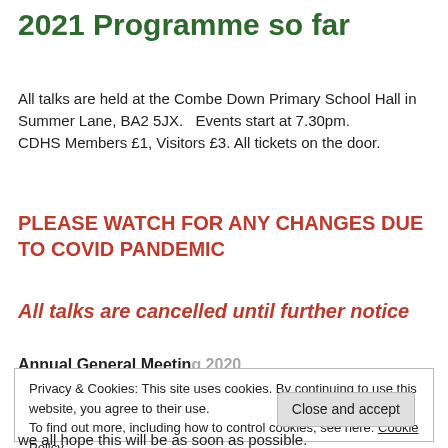2021 Programme so far
All talks are held at the Combe Down Primary School Hall in Summer Lane, BA2 5JX.   Events start at 7.30pm.
CDHS Members £1, Visitors £3. All tickets on the door.
PLEASE WATCH FOR ANY CHANGES DUE TO COVID PANDEMIC
All talks are cancelled until further notice
Annual General Meeting 2020
Privacy & Cookies: This site uses cookies. By continuing to use this website, you agree to their use.
To find out more, including how to control cookies, see here: Cookie Policy
Close and accept
we all hope this will be as soon as possible.